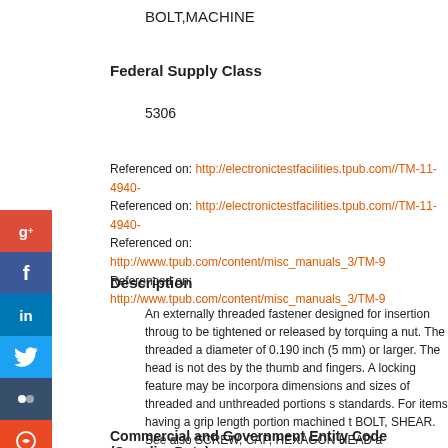BOLT,MACHINE
Federal Supply Class
5306
Referenced on: http://electronictestfacilities.tpub.com//TM-11-4940-
Referenced on: http://electronictestfacilities.tpub.com//TM-11-4940-
Referenced on: http://www.tpub.com/content/misc_manuals_3/TM-9
Referenced on: http://www.tpub.com/content/misc_manuals_3/TM-9
Description
An externally threaded fastener designed for insertion through holes in assembled parts to be tightened or released by torquing a nut. The threaded a diameter of 0.190 inch (5 mm) or larger. The head is not des by the thumb and fingers. A locking feature may be incorpora dimensions and sizes of threaded and unthreaded portions s standards. For items having a grip length portion machined t BOLT, SHEAR. See also SCREW, CAP, HEXAGON HEAD a
Commercial and Government Entity Code (Supplier Data)